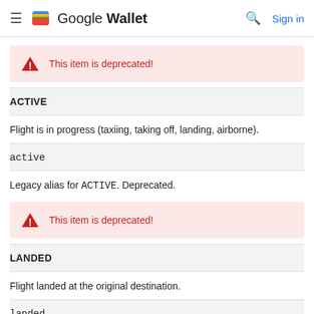Google Wallet — Sign in
This item is deprecated!
ACTIVE
Flight is in progress (taxiing, taking off, landing, airborne).
active
Legacy alias for ACTIVE. Deprecated.
This item is deprecated!
LANDED
Flight landed at the original destination.
landed